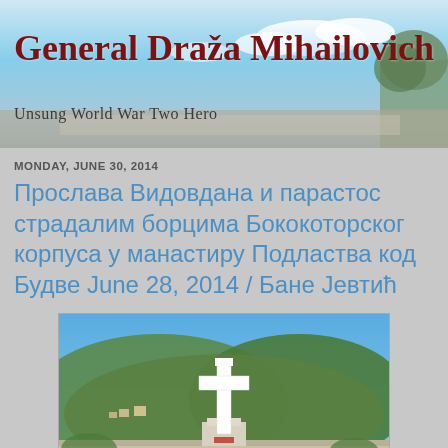General Draža Mihailovich
Unsung World War Two Hero
MONDAY, JUNE 30, 2014
Прослава Видовдана и парастос страдалим борцима Бококоторског корпуса у манастиру Подластва код Будве June 28, 2014 / Бане Јевтић
[Figure (photo): White Orthodox cross memorial monument with green hills and village in background under blue sky]